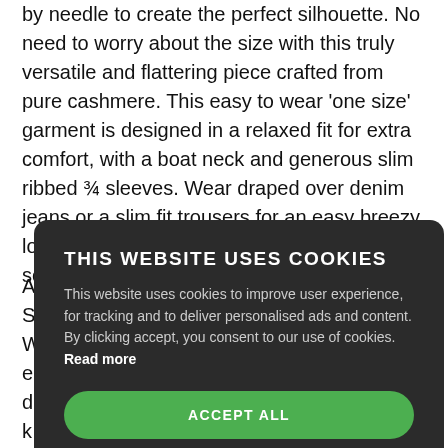by needle to create the perfect silhouette. No need to worry about the size with this truly versatile and flattering piece crafted from pure cashmere. This easy to wear 'one size' garment is designed in a relaxed fit for extra comfort, with a boat neck and generous slim ribbed ¾ sleeves. Wear draped over denim jeans or a slim fit trousers for an easy breezy look. A stylish treat for yourself or a gift for someone special.
A...actory in South W...e. It is made e...o offer a level of d...tials or names k...olour from our s...When you have p...8 hours to a...like to discuss a...accommodate them at no extra cost.
THIS WEBSITE USES COOKIES
This website uses cookies to improve user experience, for tracking and to deliver personalised ads and content. By clicking accept, you consent to our use of cookies. Read more
ACCEPT ALL
SHOW DETAILS